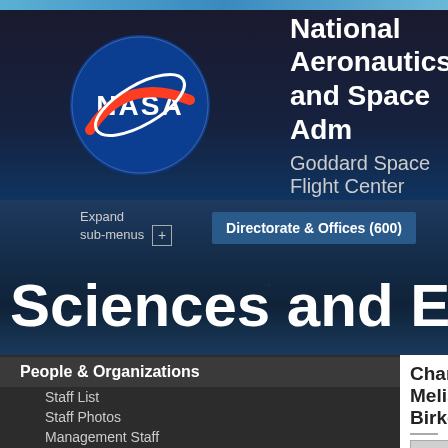[Figure (logo): NASA logo (meatball) in blue circular header]
National Aeronautics and Space Administration
Goddard Space Flight Center
Expand sub-menus +
Directorate & Offices (600)
Sciences and Exploration D
People & Organizations
Staff List
Staff Photos
Management Staff
Org Chart
Org List
Missions & Projects +
Publications
Today's Science
Charon Melissa Birkett
[Figure (photo): No Photo Available placeholder image with silhouette]
Charon Melissa Birkett
Rsch AST, Earth
charon.m.b...
301.614.64...
Org Code: 61A
NASA/GSFC
Mail Code: 61A